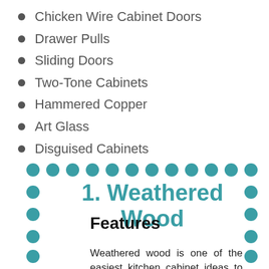Chicken Wire Cabinet Doors
Drawer Pulls
Sliding Doors
Two-Tone Cabinets
Hammered Copper
Art Glass
Disguised Cabinets
1. Weathered Wood
Features
Weathered wood is one of the easiest kitchen cabinet ideas to implement. You